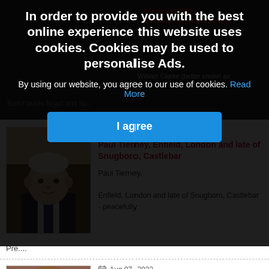[Figure (screenshot): Cookie consent banner overlay on a news/obituaries website. Dark semi-transparent background with bold white text reading 'In order to provide you with the best online experience this website uses cookies. Cookies may be used to personalise Ads.' followed by body text and a blue 'I agree' button.]
In order to provide you with the best online experience this website uses cookies. Cookies may be used to personalise Ads.
By using our website, you agree to our use of cookies. Read More
I agree
Aug 07, 2022
Paul Tierney, Enfield, London and late of Snugboro, Castlebar
Paul Tierney,

Enfield, London and late of Snugboro, Castlebar - peacefully
Pre....
Aug 07, 2022
Maura Gorman,